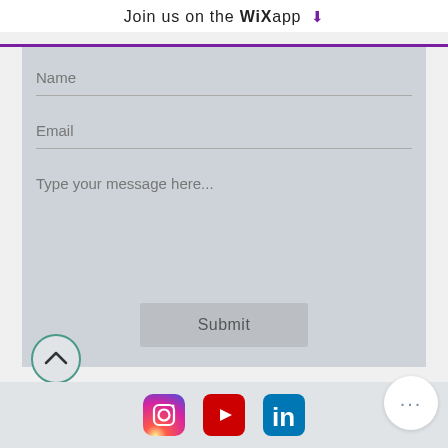Join us on the WiX app ⬇
[Figure (screenshot): Contact form with fields: Name, Email, and Type your message here..., plus a Submit button, on a light grey background]
[Figure (infographic): Footer with social media icons: Instagram, YouTube, LinkedIn, and a more options button (...)]